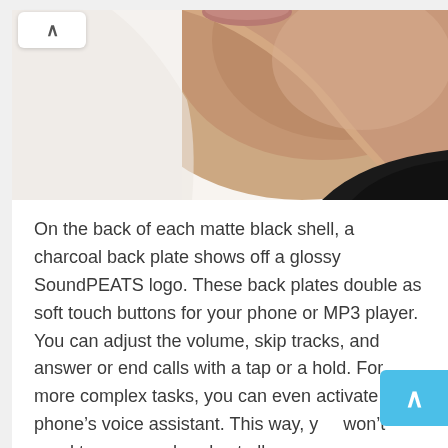[Figure (photo): Close-up photo of a person's neck and chin from a side/profile angle, with a black collar visible at the bottom right. Light skin tone, white background.]
On the back of each matte black shell, a charcoal back plate shows off a glossy SoundPEATS logo. These back plates double as soft touch buttons for your phone or MP3 player. You can adjust the volume, skip tracks, and answer or end calls with a tap or a hold. For more complex tasks, you can even activate your phone's voice assistant. This way, you won't need to use your hands at all.